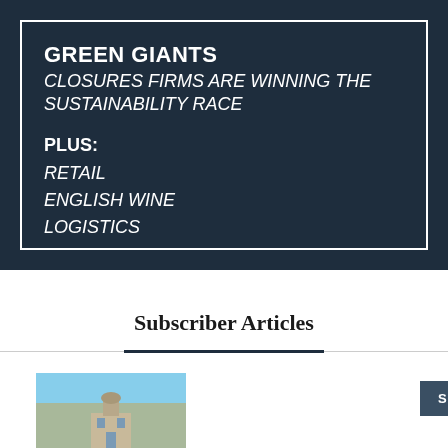GREEN GIANTS
CLOSURES FIRMS ARE WINNING THE SUSTAINABILITY RACE
PLUS:
RETAIL
ENGLISH WINE
LOGISTICS
Subscriber Articles
[Figure (photo): Thumbnail photo of a building with a dome or tower against a blue sky]
SUBSCRIBER ONLY